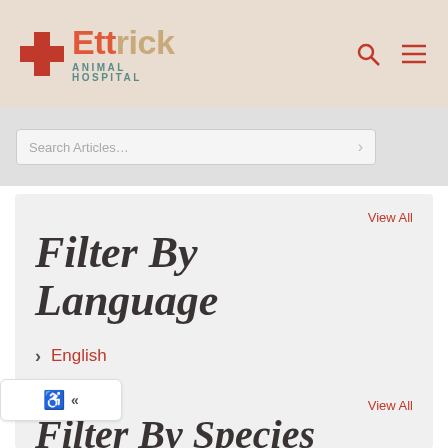[Figure (logo): Ettrick Animal Hospital logo with red cross, 'Ett' in red, 'rick' in tan, 'ANIMAL HOSPITAL' in teal below]
[Figure (other): Search icon and hamburger menu icon in red]
Search Articles
Filter By Language
View All
English
Spanish
[Figure (other): Accessibility widget with wheelchair icon and double left arrow]
Filter By Species
View All